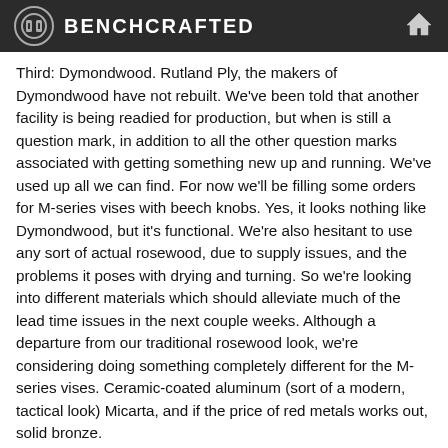BENCHCRAFTED
Third: Dymondwood. Rutland Ply, the makers of Dymondwood have not rebuilt. We've been told that another facility is being readied for production, but when is still a question mark, in addition to all the other question marks associated with getting something new up and running. We've used up all we can find. For now we'll be filling some orders for M-series vises with beech knobs. Yes, it looks nothing like Dymondwood, but it's functional. We're also hesitant to use any sort of actual rosewood, due to supply issues, and the problems it poses with drying and turning. So we're looking into different materials which should alleviate much of the lead time issues in the next couple weeks. Although a departure from our traditional rosewood look, we're considering doing something completely different for the M-series vises. Ceramic-coated aluminum (sort of a modern, tactical look) Micarta, and if the price of red metals works out, solid bronze.
We'll have an announcement in the near future about what we end up doing. But for the time being, if you order a vise now, you'll likely be getting beech knobs. If you'd like to upgrade later